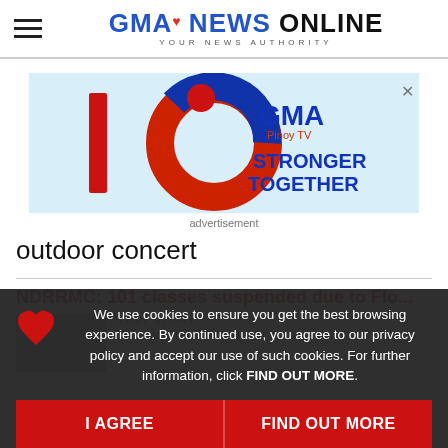GMA NEWS ONLINE — YOUR NEWS AUTHORITY
[Figure (photo): GMA Pinoy TV advertisement banner with '16' logo and 'STRONGER TOGETHER' text on light blue background]
advertisement
outdoor concert
NDRRMC: 101 classes suspended due to Flo...
Next Story
Unleash the photographer in...
We use cookies to ensure you get the best browsing experience. By continued use, you agree to our privacy policy and accept our use of such cookies. For further information, click FIND OUT MORE.